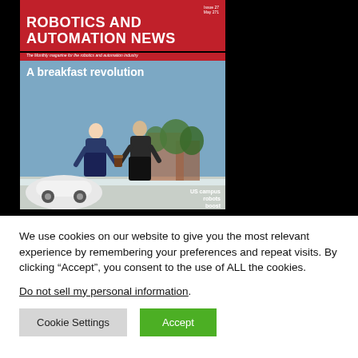[Figure (photo): Magazine cover of 'Robotics and Automation News' with red masthead banner, headline 'A breakfast revolution', showing two people exchanging a coffee cup outdoors near a white robot delivery vehicle on a campus. Overlay text reads 'US campus robots boost uptake'. Black background flanks the cover on both sides.]
We use cookies on our website to give you the most relevant experience by remembering your preferences and repeat visits. By clicking “Accept”, you consent to the use of ALL the cookies.
Do not sell my personal information.
Cookie Settings  Accept